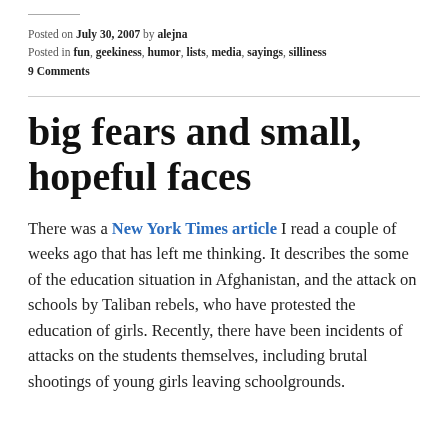Posted on July 30, 2007 by alejna
Posted in fun, geekiness, humor, lists, media, sayings, silliness
9 Comments
big fears and small, hopeful faces
There was a New York Times article I read a couple of weeks ago that has left me thinking. It describes the some of the education situation in Afghanistan, and the attack on schools by Taliban rebels, who have protested the education of girls. Recently, there have been incidents of attacks on the students themselves, including brutal shootings of young girls leaving schoolgrounds.